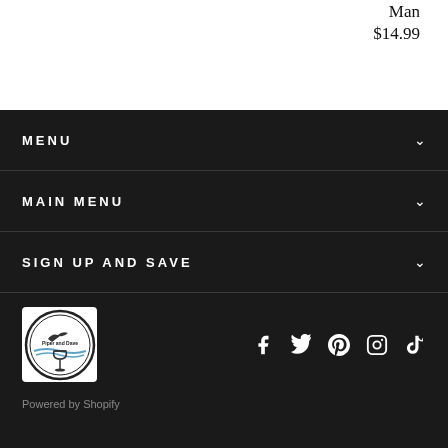Man
$14.99
MENU
MAIN MENU
SIGN UP AND SAVE
[Figure (logo): Piper and Dave circular logo with bird and wine glass]
[Figure (infographic): Social media icons: Facebook, Twitter, Pinterest, Instagram, TikTok]
Powered by Shopify